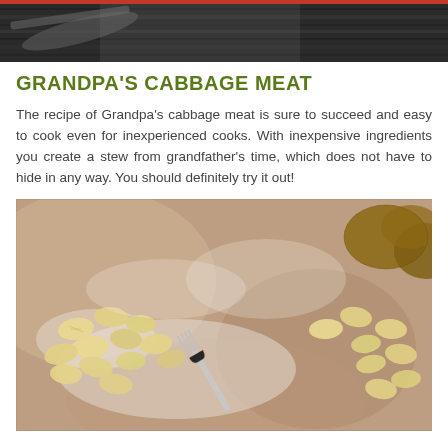[Figure (photo): Top portion of a photo showing a dark wooden surface with a brush or utensil, dark background texture]
GRANDPA'S CABBAGE MEAT
The recipe of Grandpa's cabbage meat is sure to succeed and easy to cook even for inexperienced cooks. With inexpensive ingredients you create a stew from grandfather's time, which does not have to hide in any way. You should definitely try it out!
[Figure (photo): Close-up photo of potato gnocchi scattered on a floured surface with a fork, and potatoes in the background]